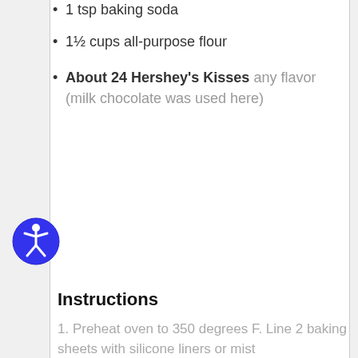1 tsp baking soda
1½ cups all-purpose flour
About 24 Hershey's Kisses any flavor (milk chocolate was used here)
[Figure (illustration): Blue circular accessibility icon with a person figure inside]
Instructions
1. Preheat oven to 350 degrees F. Line 2 baking sheets with silicone liners or mist